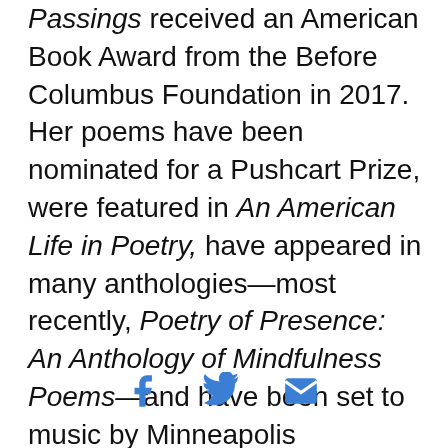Passings received an American Book Award from the Before Columbus Foundation in 2017. Her poems have been nominated for a Pushcart Prize, were featured in An American Life in Poetry, have appeared in many anthologies—most recently, Poetry of Presence: An Anthology of Mindfulness Poems—and have been set to music by Minneapolis composer Edie Hill.
[Figure (other): Social sharing icons: Facebook, Twitter, and email icons in blue]